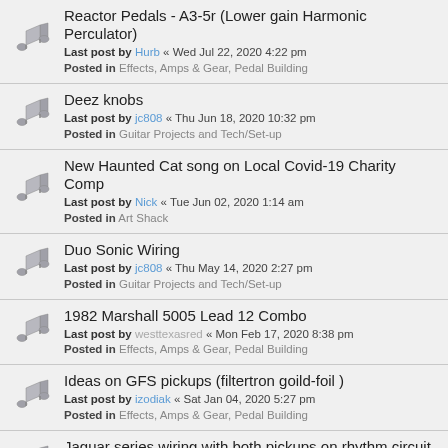Reactor Pedals - A3-5r (Lower gain Harmonic Perculator)
Last post by Hurb « Wed Jul 22, 2020 4:22 pm
Posted in Effects, Amps & Gear, Pedal Building
Deez knobs
Last post by jc808 « Thu Jun 18, 2020 10:32 pm
Posted in Guitar Projects and Tech/Set-up
New Haunted Cat song on Local Covid-19 Charity Comp
Last post by Nick « Tue Jun 02, 2020 1:14 am
Posted in Art Shack
Duo Sonic Wiring
Last post by jc808 « Thu May 14, 2020 2:27 pm
Posted in Guitar Projects and Tech/Set-up
1982 Marshall 5005 Lead 12 Combo
Last post by westtexasred « Mon Feb 17, 2020 8:38 pm
Posted in Effects, Amps & Gear, Pedal Building
Ideas on GFS pickups (filtertron goild-foil )
Last post by izodiak « Sat Jan 04, 2020 5:27 pm
Posted in Effects, Amps & Gear, Pedal Building
Jaguar series wiring with both pickups on rhythm circuit
Last post by nilsonathletics « Mon Dec 02, 2019 5:22 pm
Posted in Guitar Projects and Tech/Set-up